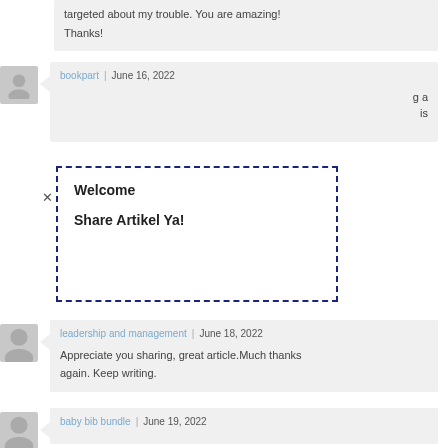targeted about my trouble. You are amazing! Thanks!
bookpart | June 16, 2022
Welcome
Share Artikel Ya!
leadership and management | June 18, 2022
Appreciate you sharing, great article.Much thanks again. Keep writing.
baby bib bundle | June 19, 2022